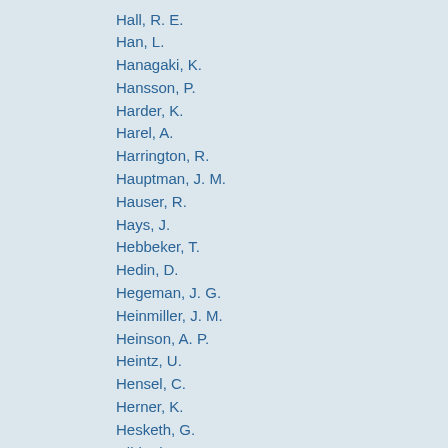Hall, R. E.
Han, L.
Hanagaki, K.
Hansson, P.
Harder, K.
Harel, A.
Harrington, R.
Hauptman, J. M.
Hauser, R.
Hays, J.
Hebbeker, T.
Hedin, D.
Hegeman, J. G.
Heinmiller, J. M.
Heinson, A. P.
Heintz, U.
Hensel, C.
Herner, K.
Hesketh, G.
Hildreth, M. D.
Hirosky, R.
Hobbs, J. D.